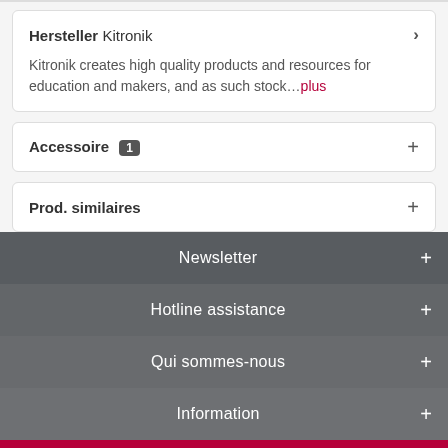Hersteller Kitronik
Kitronik creates high quality products and resources for education and makers, and as such stock…plus
Accessoire 1
Prod. similaires
Newsletter
Hotline assistance
Qui sommes-nous
Information